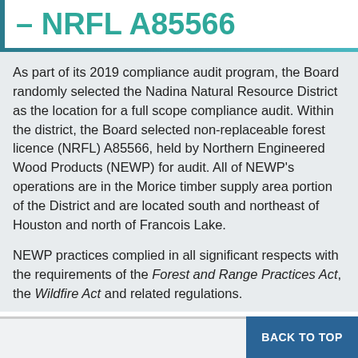– NRFL A85566
As part of its 2019 compliance audit program, the Board randomly selected the Nadina Natural Resource District as the location for a full scope compliance audit. Within the district, the Board selected non-replaceable forest licence (NRFL) A85566, held by Northern Engineered Wood Products (NEWP) for audit. All of NEWP's operations are in the Morice timber supply area portion of the District and are located south and northeast of Houston and north of Francois Lake.
NEWP practices complied in all significant respects with the requirements of the Forest and Range Practices Act, the Wildfire Act and related regulations.
BACK TO TOP